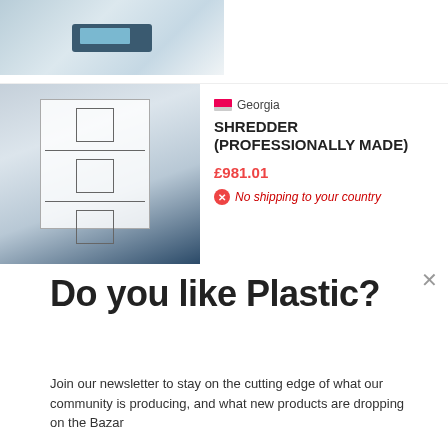[Figure (photo): Top product image strip showing a device with blue display]
[Figure (photo): Thumbnail of a plastic shredder with schematic diagrams on blue background]
Georgia
SHREDDER (PROFESSIONALLY MADE)
£981.01
No shipping to your country
Do you like Plastic?
Join our newsletter to stay on the cutting edge of what our community is producing, and what new products are dropping on the Bazar
Email
Sure, sign me up!